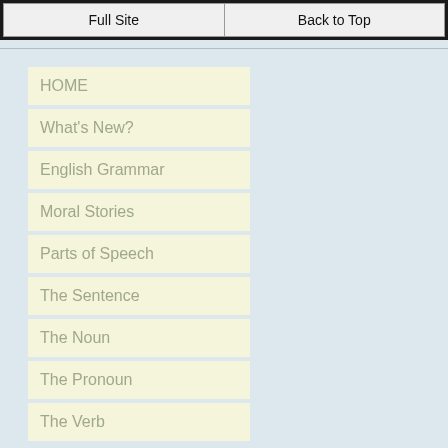Full Site | Back to Top
HOME
What's New?
English Grammar
Moral Stories
Parts of Speech
The Sentence
The Noun
The Pronoun
The Verb